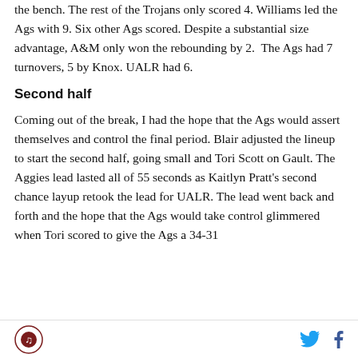the bench. The rest of the Trojans only scored 4. Williams led the Ags with 9. Six other Ags scored. Despite a substantial size advantage, A&M only won the rebounding by 2.  The Ags had 7 turnovers, 5 by Knox. UALR had 6.
Second half
Coming out of the break, I had the hope that the Ags would assert themselves and control the final period. Blair adjusted the lineup to start the second half, going small and Tori Scott on Gault. The Aggies lead lasted all of 55 seconds as Kaitlyn Pratt's second chance layup retook the lead for UALR. The lead went back and forth and the hope that the Ags would take control glimmered when Tori scored to give the Ags a 34-31
[logo] [twitter] [facebook]